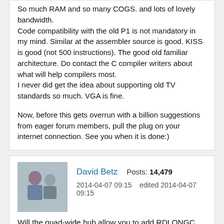So much RAM and so many COGS. and lots of lovely bandwidth.
Code compatibility with the old P1 is not mandatory in my mind. Similar at the assembler source is good. KISS is good (not 500 instructions). The good old familiar architecture. Do contact the C compiler writers about what will help compilers most.
I never did get the idea about supporting old TV standards so much. VGA is fine.

Now, before this gets overrun with a billion suggestions from eager forum members, pull the plug on your internet connection. See you when it is done:)
David Betz   Posts: 14,479
2014-04-07 09:15   edited 2014-04-07 09:15
Will the quad-wide hub allow you to add RDLONGC, RDWORDC, and RDBYTEC? Those could speed up LMM and CMM.